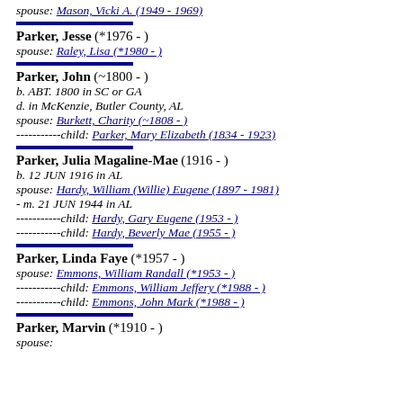spouse: Mason, Vicki A. (1949 - 1969)
Parker, Jesse (*1976 - )
spouse: Raley, Lisa (*1980 - )
Parker, John (~1800 - )
b. ABT. 1800 in SC or GA
d. in McKenzie, Butler County, AL
spouse: Burkett, Charity (~1808 - )
-----------child: Parker, Mary Elizabeth (1834 - 1923)
Parker, Julia Magaline-Mae (1916 - )
b. 12 JUN 1916 in AL
spouse: Hardy, William (Willie) Eugene (1897 - 1981)
- m. 21 JUN 1944 in AL
-----------child: Hardy, Gary Eugene (1953 - )
-----------child: Hardy, Beverly Mae (1955 - )
Parker, Linda Faye (*1957 - )
spouse: Emmons, William Randall (*1953 - )
-----------child: Emmons, William Jeffery (*1988 - )
-----------child: Emmons, John Mark (*1988 - )
Parker, Marvin (*1910 - )